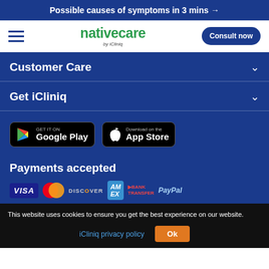Possible causes of symptoms in 3 mins →
[Figure (logo): nativecare by iCliniq logo with hamburger menu and Consult now button]
Customer Care
Get iCliniq
[Figure (other): GET IT ON Google Play and Download on the App Store badges]
Payments accepted
[Figure (other): Payment icons: VISA, Mastercard, Discover, American Express, Bank Transfer, PayPal]
This website uses cookies to ensure you get the best experience on our website.
iCliniq privacy policy   Ok